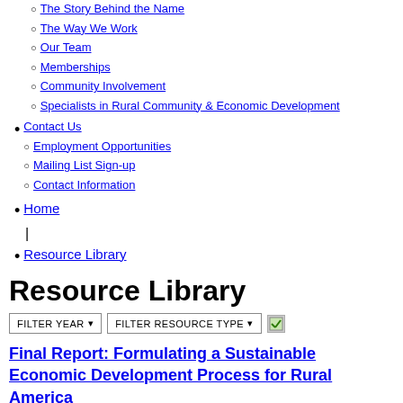The Story Behind the Name
The Way We Work
Our Team
Memberships
Community Involvement
Specialists in Rural Community & Economic Development
Contact Us
Employment Opportunities
Mailing List Sign-up
Contact Information
Home
Resource Library
Resource Library
FILTER YEAR  FILTER RESOURCE TYPE
Final Report: Formulating a Sustainable Economic Development Process for Rural America
This re...